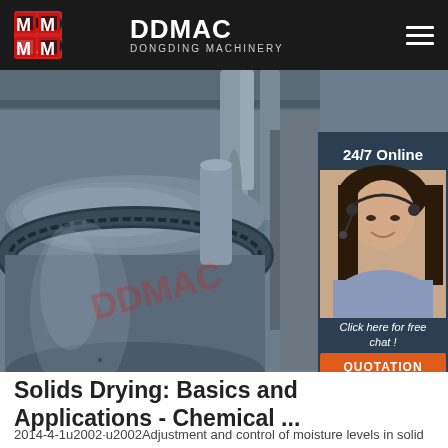DDMAC DONGDING MACHINERY
[Figure (photo): Industrial rotary dryer machine in a factory setting, large cylindrical drum with gear ring visible, pipes and industrial equipment in background. Overlaid with DDMAC watermark logo. Adjacent customer service panel showing '24/7 Online' text, photo of female customer service representative with headset, 'Click here for free chat!' text and orange QUOTATION button.]
Solids Drying: Basics and Applications - Chemical ...
2014-4-1u2002·u2002Adjustment and control of moisture levels in solid materials through drying is a